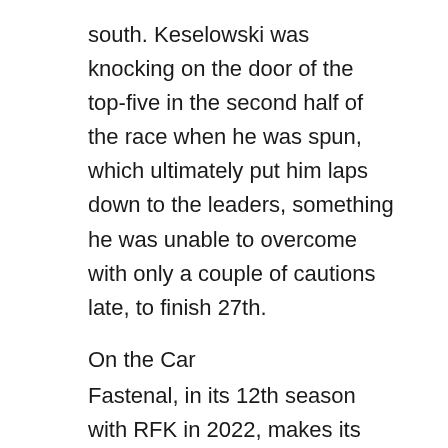south. Keselowski was knocking on the door of the top-five in the second half of the race when he was spun, which ultimately put him laps down to the leaders, something he was unable to overcome with only a couple of cautions late, to finish 27th.
On the Car
Fastenal, in its 12th season with RFK in 2022, makes its first-ever appearance with the No. 6 team this weekend. Fastenal originally was a partner with the No. 99 team before moving over to the No. 17 team since. They were also the primary partner on the No. 60 Xfinity Series entry that captured the owner's championship in 2011.
Fastenal will feature top suppliers Ansell, Master